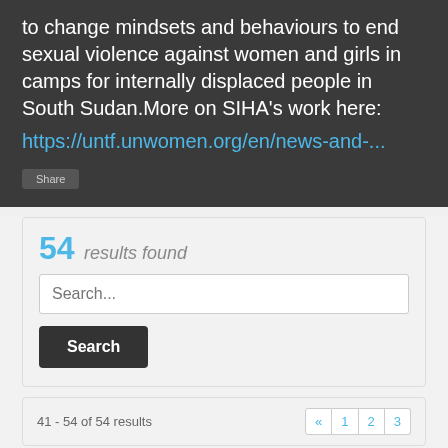to change mindsets and behaviours to end sexual violence against women and girls in camps for internally displaced people in South Sudan.More on SIHA's work here: https://untf.unwomen.org/en/news-and-...
Share
54 results found
Search...
Search
41 - 54 of 54 results
[Figure (photo): Thumbnail photo showing a group of people, appears to be individuals gathered together, partial view at bottom of page]